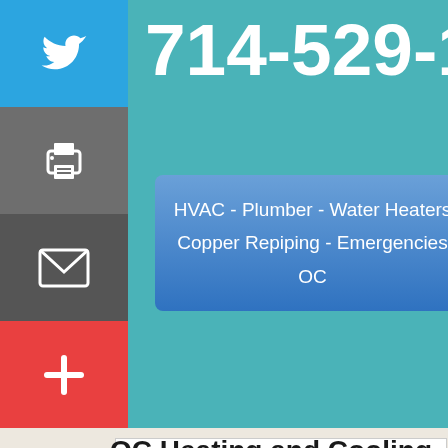[Figure (screenshot): Twitter bird icon button on teal/blue sidebar]
[Figure (screenshot): Print icon button on gray sidebar]
[Figure (screenshot): Email/envelope icon button on dark gray sidebar]
[Figure (screenshot): Red plus button on sidebar]
714-529-1034
HVAC - Plumber - Water Heaters
Copper Repiping - Emergencies OC
OC Heating and Cooling
You've got a leak? We can
Brea / Orange County Plumbing H